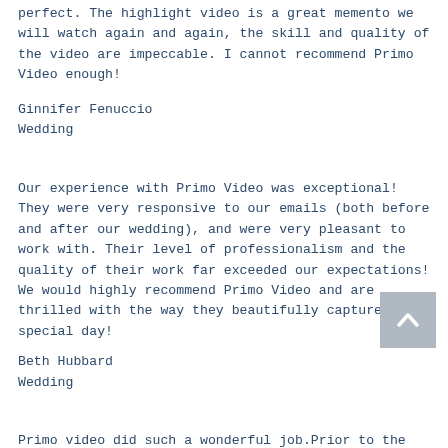perfect. The highlight video is a great memento we will watch again and again, the skill and quality of the video are impeccable. I cannot recommend Primo Video enough!
Ginnifer Fenuccio
Wedding
Our experience with Primo Video was exceptional! They were very responsive to our emails (both before and after our wedding), and were very pleasant to work with. Their level of professionalism and the quality of their work far exceeded our expectations! We would highly recommend Primo Video and are thrilled with the way they beautifully captured our special day!
Beth Hubbard
Wedding
[Figure (other): Back to top button — a grey square with a white upward-pointing chevron/arrow]
Primo video did such a wonderful job.Prior to the wedding they were extremely helpful with all the questions